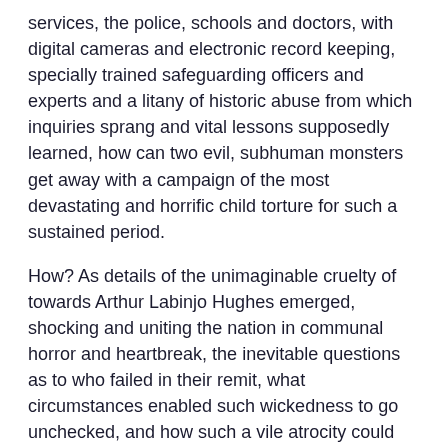services, the police, schools and doctors, with digital cameras and electronic record keeping, specially trained safeguarding officers and experts and a litany of historic abuse from which inquiries sprang and vital lessons supposedly learned, how can two evil, subhuman monsters get away with a campaign of the most devastating and horrific child torture for such a sustained period.
How? As details of the unimaginable cruelty of towards Arthur Labinjo Hughes emerged, shocking and uniting the nation in communal horror and heartbreak, the inevitable questions as to who failed in their remit, what circumstances enabled such wickedness to go unchecked, and how such a vile atrocity could yet again occur in 21st century Britain, should remind us all that there are other Arthurs out there, right now, whose lives depend on us to protect them from the very people expected to do just that.